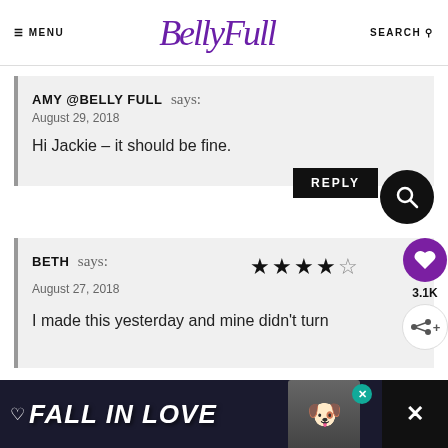MENU  BellyFull  SEARCH
AMY @BELLY FULL says:
August 29, 2018

Hi Jackie – it should be fine.
BETH says:
August 27, 2018

I made this yesterday and mine didn't turn
[Figure (other): Ad banner reading FALL IN LOVE with a dog image]